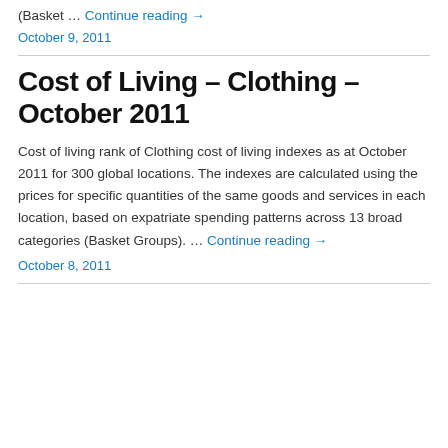(Basket … Continue reading →
October 9, 2011
Cost of Living – Clothing – October 2011
Cost of living rank of Clothing cost of living indexes as at October 2011 for 300 global locations. The indexes are calculated using the prices for specific quantities of the same goods and services in each location, based on expatriate spending patterns across 13 broad categories (Basket Groups). … Continue reading →
October 8, 2011